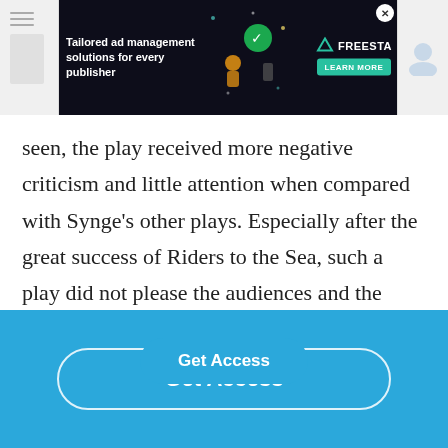[Figure (screenshot): Advertisement banner for Freesta ad management platform with dark background, green robot graphic, Freesta logo with triangle icon, and Learn More button]
seen, the play received more negative criticism and little attention when compared with Synge's other plays. Especially after the great success of Riders to the Sea, such a play did not please the audiences and the critics.
The Tinker's Wedding is of high importance as it could be rega...k between the one-act plays...
Get Access
Get Access